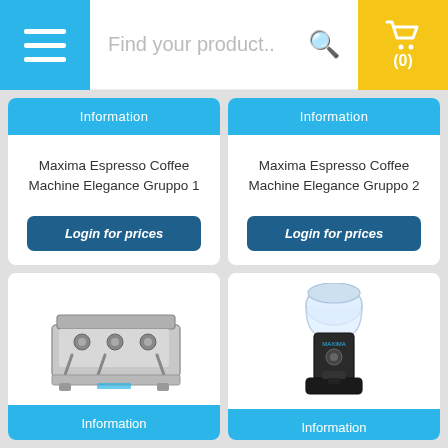Find your product..
Information
Maxima Espresso Coffee Machine Elegance Gruppo 1
Login for prices
Information
Maxima Espresso Coffee Machine Elegance Gruppo 2
Login for prices
[Figure (photo): Maxima espresso coffee machine, stainless steel, 3 group heads]
[Figure (photo): Coffee grinder machine, black, with clear bean hopper on top]
Information
Information